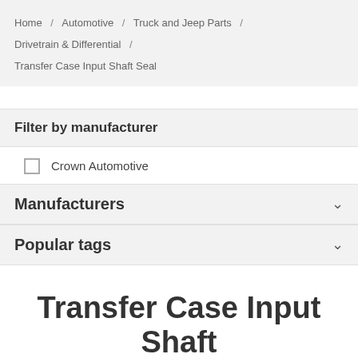Home / Automotive / Truck and Jeep Parts / Drivetrain & Differential / Transfer Case Input Shaft Seal
Filter by manufacturer
Crown Automotive
Manufacturers
Popular tags
Transfer Case Input Shaft Seal